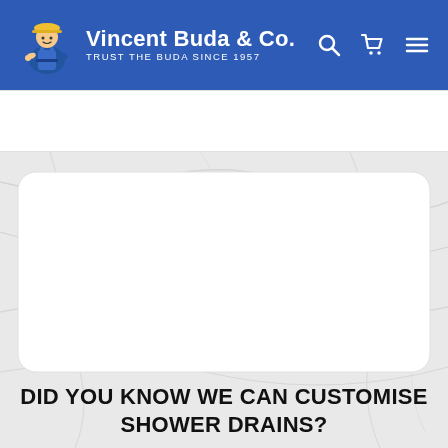Vincent Buda & Co. — TRUST THE BUDA SINCE 1957
[Figure (photo): White marble textured background with a white rounded-rectangle inset panel (likely a product image placeholder). The marble surface is light grey/white with subtle grey veining.]
DID YOU KNOW WE CAN CUSTOMISE SHOWER DRAINS?